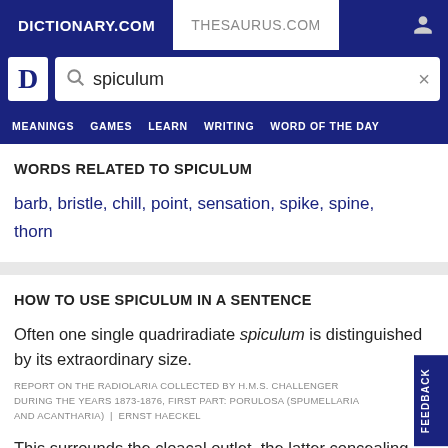DICTIONARY.COM | THESAURUS.COM
[Figure (screenshot): Dictionary.com logo with search bar showing 'spiculum']
MEANINGS  GAMES  LEARN  WRITING  WORD OF THE DAY
WORDS RELATED TO SPICULUM
barb, bristle, chill, point, sensation, spike, spine, thorn
HOW TO USE SPICULUM IN A SENTENCE
Often one single quadriradiate spiculum is distinguished by its extraordinary size.
REPORT ON THE RADIOLARIA COLLECTED BY H.M.S. CHALLENGER DURING THE YEARS 1873-1876, FIRST PART: PORULOSA (SPUMELLARIA AND ACANTHARIA)  |  ERNST HAECKEL
This surrounds the cloacal outlet, the latter concealing a double spiculum.